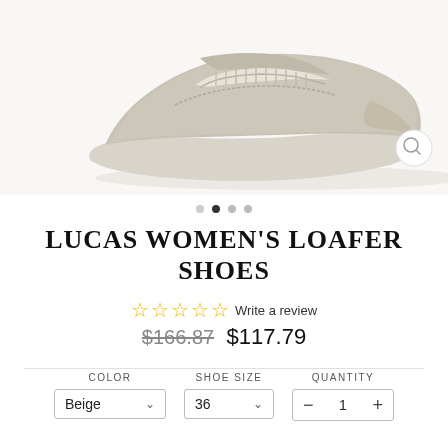[Figure (photo): Beige suede women's loafer shoe product photo on white background, top portion visible]
LUCAS WOMEN'S LOAFER SHOES
☆☆☆☆☆ Write a review
$166.87  $117.79
COLOR  SHOE SIZE  QUANTITY
Beige ∨   36 ∨   − 1 +